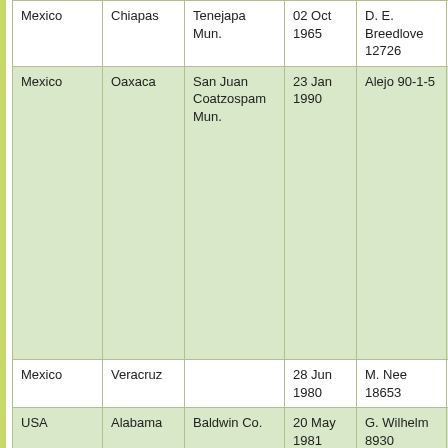| Country | State/Province | County/Municipality | Date | Collector | Notes |
| --- | --- | --- | --- | --- | --- |
| Mexico | Chiapas | Tenejapa Mun. | 02 Oct 1965 | D. E. Breedlove 12726 |  |
| Mexico | Oaxaca | San Juan Coatzospam Mun. | 23 Jan 1990 | Alejo 90-1-5 | Mixtec n. xucu sara |
| Mexico | Veracruz |  | 28 Jun 1980 | M. Nee 18653 |  |
| USA | Alabama | Baldwin Co. | 20 May 1981 | G. Wilhelm 8930 |  |
| USA | Alabama | Cleburne Co. | 03 Aug 1987 | S. R. Hill 18494 |  |
| USA | Alabama | Covington Co. | 29 Aug 1994 | S. L. Orzell 23049 |  |
| USA | Alabama | Escambia Co. | 19 May 1981 | G. Wilhelm 8795 |  |
| USA | Alabama | Geneva Co. | 14 Aug 2011 | A. R. Diamond 22417 |  |
| USA | Alabama | Pike Co. | 17 Oct 2011 | A. R. Diamond 22641 |  |
| USA | Arkansas | Marion Co. | 30 Sep 1950 | D. Demaree 30076 |  |